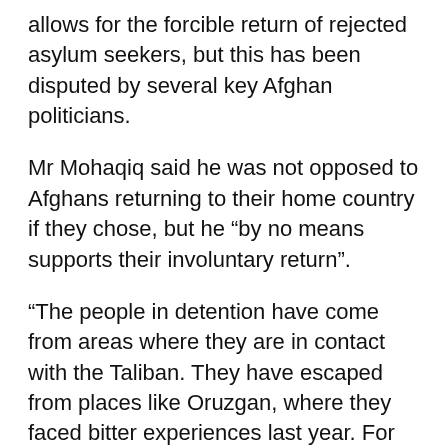allows for the forcible return of rejected asylum seekers, but this has been disputed by several key Afghan politicians.
Mr Mohaqiq said he was not opposed to Afghans returning to their home country if they chose, but he “by no means supports their involuntary return”.
“The people in detention have come from areas where they are in contact with the Taliban. They have escaped from places like Oruzgan, where they faced bitter experiences last year. For example, in Oruzgan 1000 families have left the area and gone to unknown destinations. Some have made it to different corners of the world, including Australia, and they are affected by the